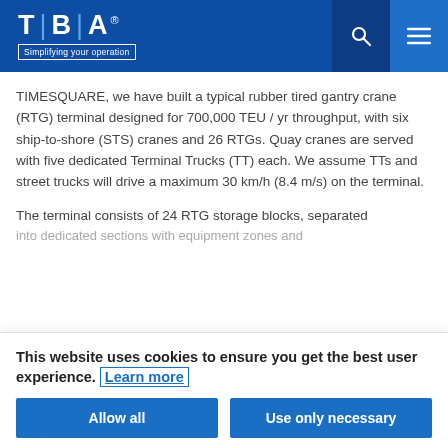TBA | Simplifying your operation
TIMESQUARE, we have built a typical rubber tired gantry crane (RTG) terminal designed for 700,000 TEU / yr throughput, with six ship-to-shore (STS) cranes and 26 RTGs. Quay cranes are served with five dedicated Terminal Trucks (TT) each. We assume TTs and street trucks will drive a maximum 30 km/h (8.4 m/s) on the terminal.
The terminal consists of 24 RTG storage blocks, separated
This website uses cookies to ensure you get the best user experience. Learn more
Allow all
Use only necessary cookies